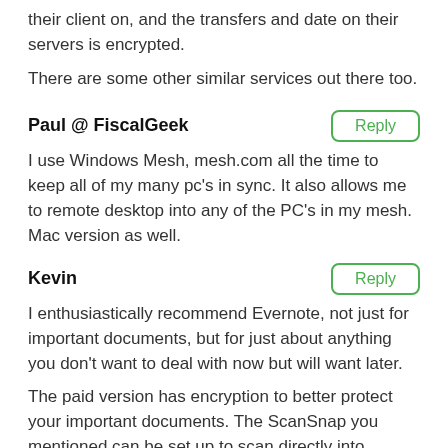their client on, and the transfers and date on their servers is encrypted.
There are some other similar services out there too.
Paul @ FiscalGeek
I use Windows Mesh, mesh.com all the time to keep all of my many pc's in sync. It also allows me to remote desktop into any of the PC's in my mesh. Mac version as well.
Kevin
I enthusiastically recommend Evernote, not just for important documents, but for just about anything you don't want to deal with now but will want later.
The paid version has encryption to better protect your important documents. The ScanSnap you mentioned can be set up to scan directly into Evernote, and Evernote will make all text in pdfs, photos, and other images searchable.